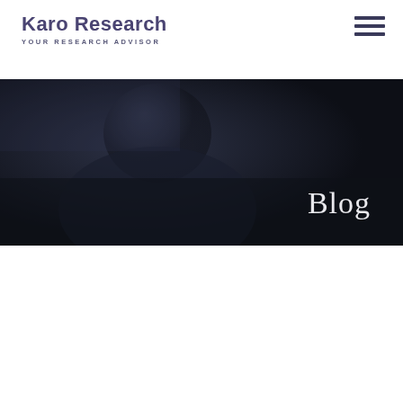Karo Research
YOUR RESEARCH ADVISOR
[Figure (illustration): Dark hero banner with a blurred dark background image showing a person in shadow. The banner has the word 'Blog' in large light text on the right side.]
Blog